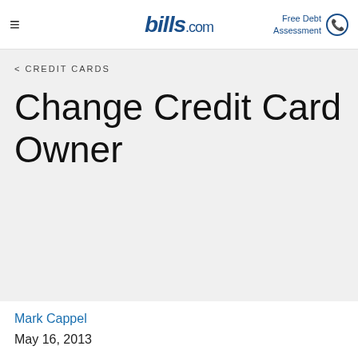bills.com | Free Debt Assessment
< CREDIT CARDS
Change Credit Card Owner
Mark Cappel
May 16, 2013